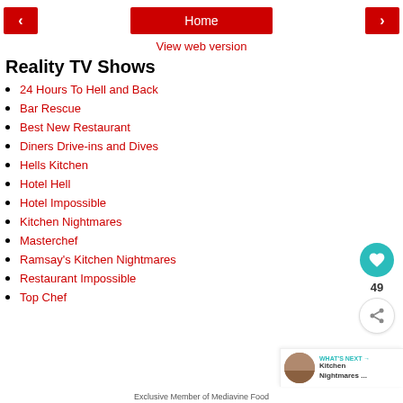< Home >
View web version
Reality TV Shows
24 Hours To Hell and Back
Bar Rescue
Best New Restaurant
Diners Drive-ins and Dives
Hells Kitchen
Hotel Hell
Hotel Impossible
Kitchen Nightmares
Masterchef
Ramsay's Kitchen Nightmares
Restaurant Impossible
Top Chef
Exclusive Member of Mediavine Food